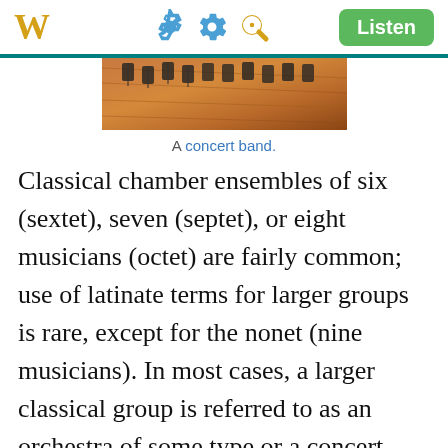W  [gear icon] [search icon]  Listen
[Figure (photo): A concert band on stage with music stands and chairs visible on a wooden stage floor, viewed from above at an angle.]
A concert band.
Classical chamber ensembles of six (sextet), seven (septet), or eight musicians (octet) are fairly common; use of latinate terms for larger groups is rare, except for the nonet (nine musicians). In most cases, a larger classical group is referred to as an orchestra of some type or a concert band. A small orchestra with